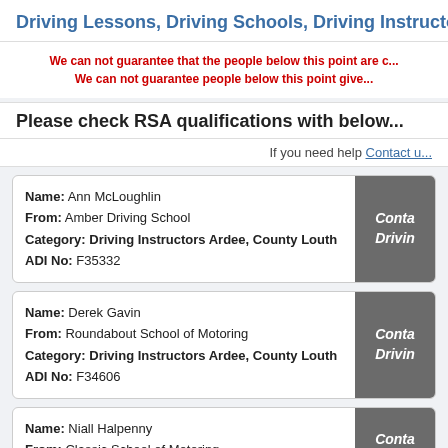Driving Lessons, Driving Schools, Driving Instructors i...
We can not guarantee that the people below this point are c... We can not guarantee people below this point give...
Please check RSA qualifications with below
If you need help Contact u...
Name: Ann McLoughlin
From: Amber Driving School
Category: Driving Instructors Ardee, County Louth
ADI No: F35332
Name: Derek Gavin
From: Roundabout School of Motoring
Category: Driving Instructors Ardee, County Louth
ADI No: F34606
Name: Niall Halpenny
From: Classic School of Motoring
Category: Driving Instructors Ardee, County Louth